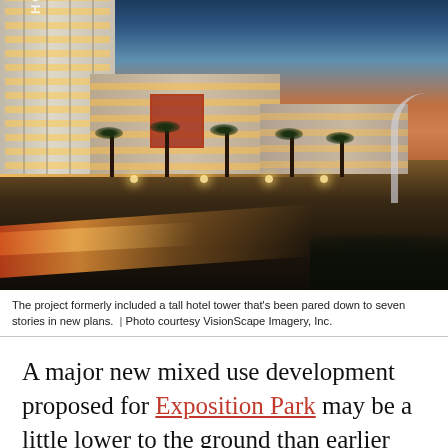[Figure (photo): Architectural rendering of a mixed-use development at dusk/night, featuring a tall hotel tower on the left with 'HOTEL' lettering, mid-rise buildings with lit windows along a boulevard lined with palm trees, and a road with light trails in the foreground. Orange and blue sky sunset backdrop. Arch structure visible on the right.]
The project formerly included a tall hotel tower that's been pared down to seven stories in new plans.  |  Photo courtesy VisionScape Imagery, Inc.
A major new mixed use development proposed for Exposition Park may be a little lower to the ground than earlier plans suggested.